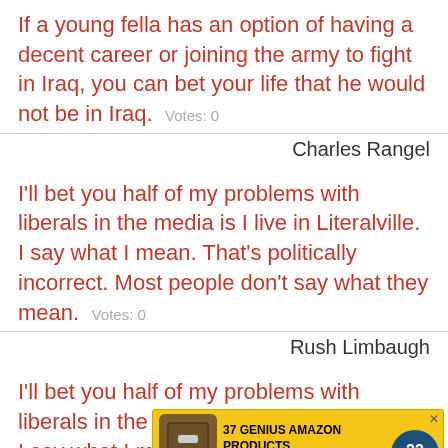If a young fella has an option of having a decent career or joining the army to fight in Iraq, you can bet your life that he would not be in Iraq. Votes: 0
Charles Rangel
I'll bet you half of my problems with liberals in the media is I live in Literalville. I say what I mean. That's politically incorrect. Most people don't say what they mean. Votes: 0
Rush Limbaugh
I'll bet you half of my problems with liberals in the media is I live in Literalville. I say what I mean. That's politically incorrect. Most people don't say what they mean. Votes: 0
[Figure (infographic): Advertisement banner: 37 GENIUS AMAZON PRODUCTS THAT CAN BE USED BY ANYONE with bottle image and 22 Words badge]